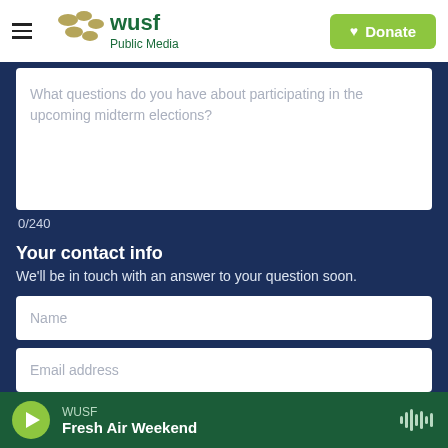WUSF Public Media | Donate
What questions do you have about participating in the upcoming midterm elections?
0/240
Your contact info
We'll be in touch with an answer to your question soon.
Name
Email address
WUSF | Fresh Air Weekend